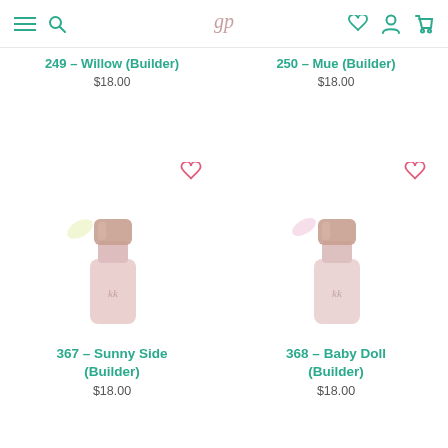Navigation bar with menu, search, logo, wishlist, account, cart icons
249 - Willow (Builder)
$18.00
250 - Mue (Builder)
$18.00
[Figure (photo): Nail polish bottle product photo for 367 - Sunny Side (Builder), pink bottle with gold cap, with light yellow nail swatch beside it]
[Figure (photo): Nail polish bottle product photo for 368 - Baby Doll (Builder), pink bottle with gold cap, with light pink nail swatch beside it]
367 - Sunny Side (Builder)
$18.00
368 - Baby Doll (Builder)
$18.00